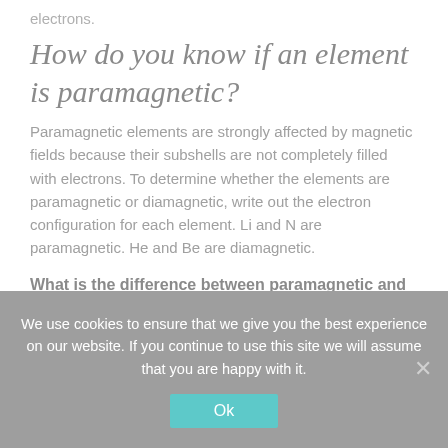electrons.
How do you know if an element is paramagnetic?
Paramagnetic elements are strongly affected by magnetic fields because their subshells are not completely filled with electrons. To determine whether the elements are paramagnetic or diamagnetic, write out the electron configuration for each element. Li and N are paramagnetic. He and Be are diamagnetic.
What is the difference between paramagnetic and diamagnetic ligands?
Diamagnetic means that there are no non-paired electrons in
We use cookies to ensure that we give you the best experience on our website. If you continue to use this site we will assume that you are happy with it.